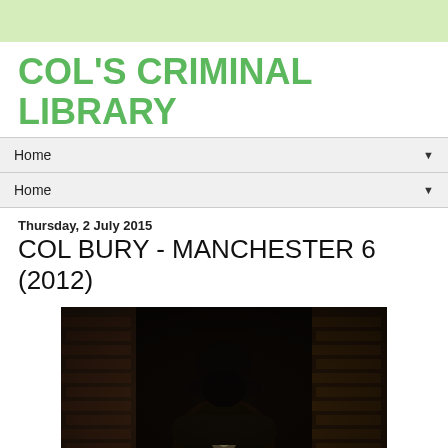COL'S CRIMINAL LIBRARY
Home ▼
Home ▼
Thursday, 2 July 2015
COL BURY - MANCHESTER 6 (2012)
[Figure (photo): Black and white photo of a hooded figure standing in front of a brick wall, face obscured in shadow]